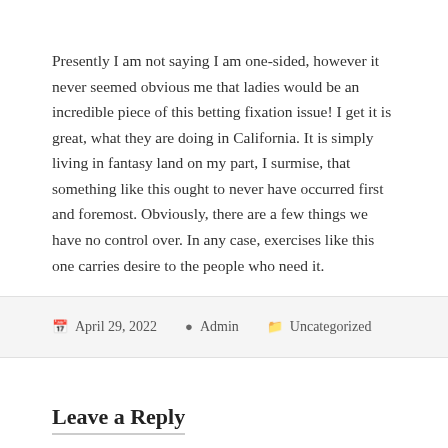Presently I am not saying I am one-sided, however it never seemed obvious me that ladies would be an incredible piece of this betting fixation issue! I get it is great, what they are doing in California. It is simply living in fantasy land on my part, I surmise, that something like this ought to never have occurred first and foremost. Obviously, there are a few things we have no control over. In any case, exercises like this one carries desire to the people who need it.
April 29, 2022  Admin  Uncategorized
Leave a Reply